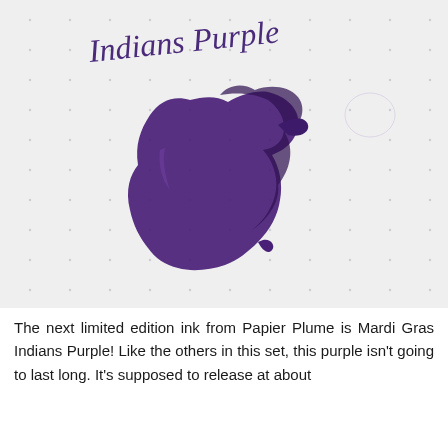[Figure (photo): A photograph of a dotted white paper with a handwritten title 'Indians Purple' in purple ink at the top and a large irregular purple ink blot/smear in the center of the page.]
The next limited edition ink from Papier Plume is Mardi Gras Indians Purple! Like the others in this set, this purple isn't going to last long. It's supposed to release at about